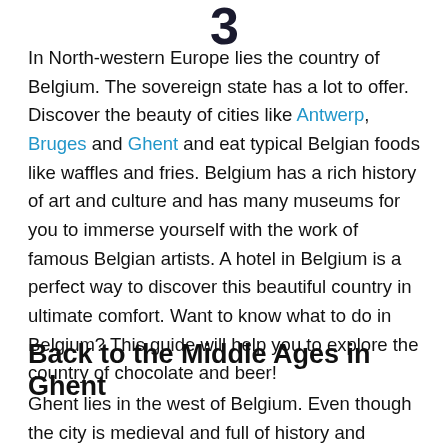3
In North-western Europe lies the country of Belgium. The sovereign state has a lot to offer. Discover the beauty of cities like Antwerp, Bruges and Ghent and eat typical Belgian foods like waffles and fries. Belgium has a rich history of art and culture and has many museums for you to immerse yourself with the work of famous Belgian artists. A hotel in Belgium is a perfect way to discover this beautiful country in ultimate comfort. Want to know what to do in Belgium? This guide will help you to explore the country of chocolate and beer!
Back to the Middle Ages in Ghent
Ghent lies in the west of Belgium. Even though the city is medieval and full of history and culture, Ghent is also a lively student city with cosy bars and long shopping streets. One of the most striking